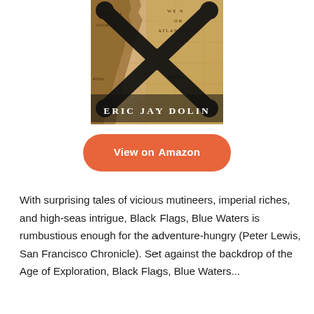[Figure (illustration): Book cover of 'Black Flags, Blue Waters' by Eric Jay Dolin. Shows a vintage map of the Atlantic Ocean coastline (Carolina, Georgia, Florida visible) overlaid with a large black skull-and-crossbones pirate symbol. The author name 'ERIC JAY DOLIN' appears in white serif letters at the bottom of the cover.]
View on Amazon
With surprising tales of vicious mutineers, imperial riches, and high-seas intrigue, Black Flags, Blue Waters is rumbustious enough for the adventure-hungry (Peter Lewis, San Francisco Chronicle). Set against the backdrop of the Age of Exploration, Black Flags, Blue Waters...